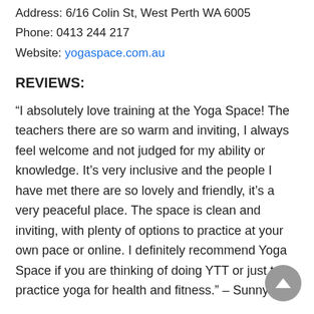Address: 6/16 Colin St, West Perth WA 6005
Phone: 0413 244 217
Website: yogaspace.com.au
REVIEWS:
“I absolutely love training at the Yoga Space! The teachers there are so warm and inviting, I always feel welcome and not judged for my ability or knowledge. It’s very inclusive and the people I have met there are so lovely and friendly, it’s a very peaceful place. The space is clean and inviting, with plenty of options to practice at your own pace or online. I definitely recommend Yoga Space if you are thinking of doing YTT or just to practice yoga for health and fitness.” – Sunny